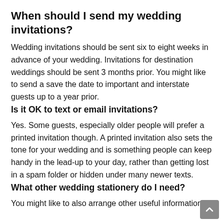When should I send my wedding invitations?
Wedding invitations should be sent six to eight weeks in advance of your wedding. Invitations for destination weddings should be sent 3 months prior. You might like to send a save the date to important and interstate guests up to a year prior.
Is it OK to text or email invitations?
Yes. Some guests, especially older people will prefer a printed invitation though. A printed invitation also sets the tone for your wedding and is something people can keep handy in the lead-up to your day, rather than getting lost in a spam folder or hidden under many newer texts.
What other wedding stationery do I need?
You might like to also arrange other useful information